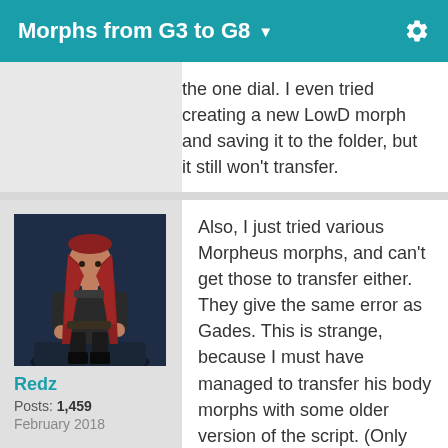Morphs from G3 to G8
the one dial. I even tried creating a new LowD morph and saving it to the folder, but it still won't transfer.
[Figure (photo): Female warrior character avatar for user Redz]
Redz
Posts: 1,459
February 2018
Also, I just tried various Morpheus morphs, and can't get those to transfer either. They give the same error as Gades. This is strange, because I must have managed to transfer his body morphs with some older version of the script. (Only the body shapes had transferred though, not the head and face morphs, that one I